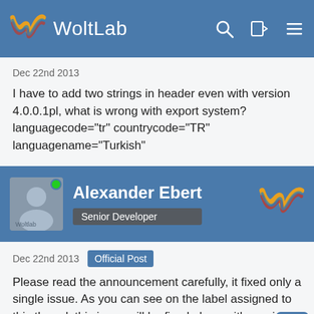WoltLab
Dec 22nd 2013
I have to add two strings in header even with version 4.0.0.1pl, what is wrong with export system? languagecode="tr" countrycode="TR" languagename="Turkish"
Alexander Ebert
Senior Developer
Dec 22nd 2013  Official Post
Please read the announcement carefully, it fixed only a single issue. As you can see on the label assigned to this thread, this issue will be fixed along with version 4.0.1